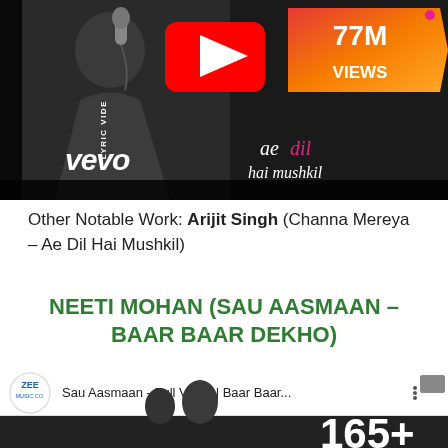[Figure (screenshot): YouTube thumbnail showing a singer with microphone, YouTube play button, 77M VIEWS badge in orange/red arrow shape, vevo logo, and 'ae dil hai mushkil' text. LYRIC VIDEO label on left side.]
Other Notable Work: Arijit Singh (Channa Mereya – Ae Dil Hai Mushkil)
NEETI MOHAN (SAU AASMAAN – BAAR BAAR DEKHO)
[Figure (screenshot): YouTube thumbnail for 'Sau Aasmaan - Full Video | Baar Baar...' with Zee Music Co. logo, showing a couple and '165+' views text.]